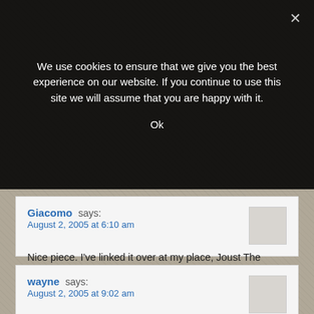We use cookies to ensure that we give you the best experience on our website. If you continue to use this site we will assume that you are happy with it.
Ok
Giacomo says:
August 2, 2005 at 6:10 am
Nice piece. I've linked it over at my place, Joust The Facts. Do you remember the brouhaha over Bill Lann Lee?
wayne says:
August 2, 2005 at 9:02 am
This just goes to prove what I've always said: these sum total of Teddy Kennedy's